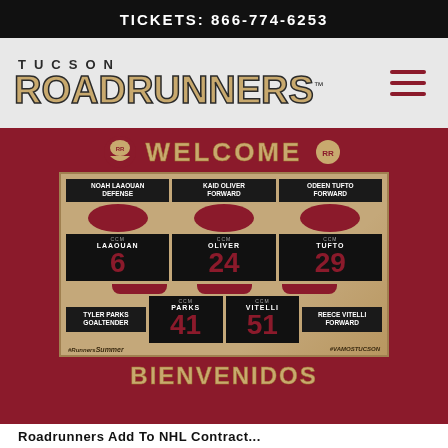TICKETS: 866-774-6253
[Figure (logo): Tucson Roadrunners logo with hamburger menu icon]
[Figure (infographic): Welcome graphic for Tucson Roadrunners new players: Noah Laaouan (Defense, #6), Kaid Oliver (Forward, #24), Odeen Tufto (Forward, #29) in top row; Tyler Parks (Goaltender, #41), Reece Vitelli (Forward, #51) in bottom row. Hashtags: #RunnersSummer and #VamosTucson. Header says WELCOME, footer says BIENVENIDOS.]